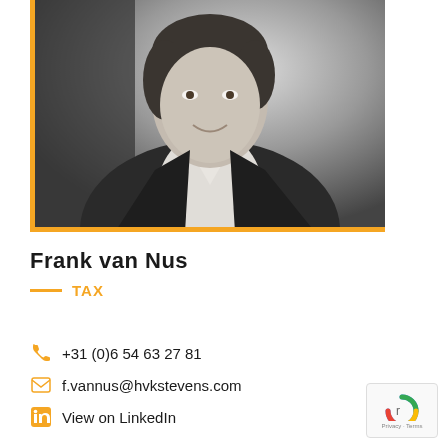[Figure (photo): Black and white professional portrait photo of Frank van Nus, a man in a dark suit jacket with an open-collar white shirt, smiling, framed with orange/gold border on left and bottom sides]
Frank van Nus
TAX
+31 (0)6 54 63 27 81
f.vannus@hvkstevens.com
View on LinkedIn